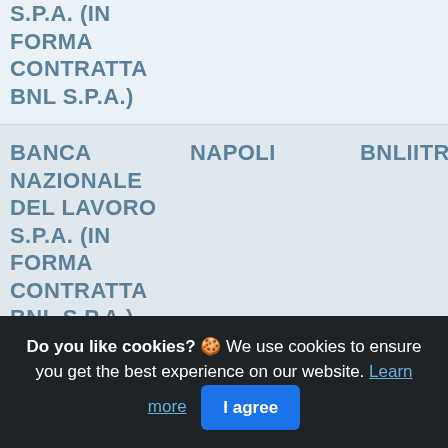| Name | City | Code | Num |
| --- | --- | --- | --- |
| BANCA NAZIONALE DEL LAVORO S.P.A. (IN FORMA CONTRATTA BNL S.P.A.) |  |  |  |
| BANCA NAZIONALE DEL LAVORO S.P.A. (IN FORMA CONTRATTA BNL S.P.A.) | NAPOLI | BNLIITRRXXX | 03 |
| BANCA | REGGIO | BNLIITRRXXX | 16 |
Do you like cookies? 🍪 We use cookies to ensure you get the best experience on our website. Learn more | I agree